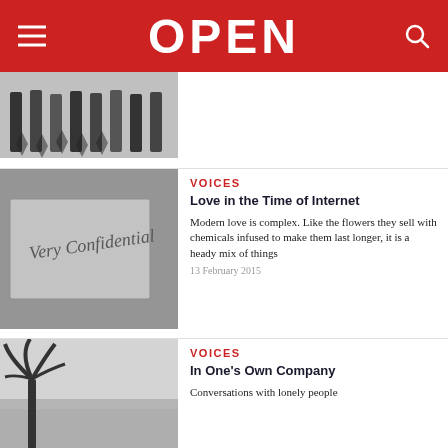OPEN
[Figure (photo): Black and white photo showing people's legs standing in a row, partial crop at top of page]
VOICES
Love in the Time of Internet
Modern love is complex. Like the flowers they sell with chemicals infused to make them last longer, it is a heady mix of things
13 February 2015
[Figure (photo): Black and white close-up photo of an envelope or card with script text reading 'Very Confidential']
VOICES
In One's Own Company
Conversations with lonely people
[Figure (photo): Black and white photo of a palm tree against a cloudy sky, partial crop at bottom of page]